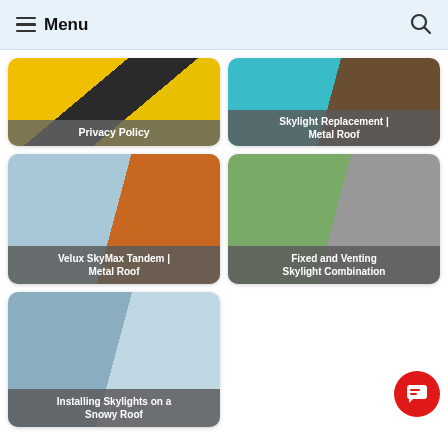Menu
[Figure (photo): Card with yellow and dark shapes showing Privacy Policy label]
[Figure (photo): Card showing skylight on metal roof with teal glass and brown roof]
[Figure (photo): Velux SkyMax Tandem on Metal Roof - snowy roof and orange worker]
[Figure (photo): Fixed and Venting Skylight Combination - green trees and grey roof panel]
[Figure (photo): Installing Skylights on a Snowy Roof - snowy asphalt shingles and trees]